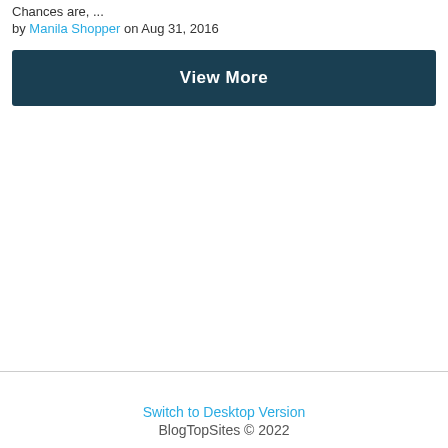Chances are,  ...
by Manila Shopper on Aug 31, 2016
View More
Switch to Desktop Version
BlogTopSites © 2022